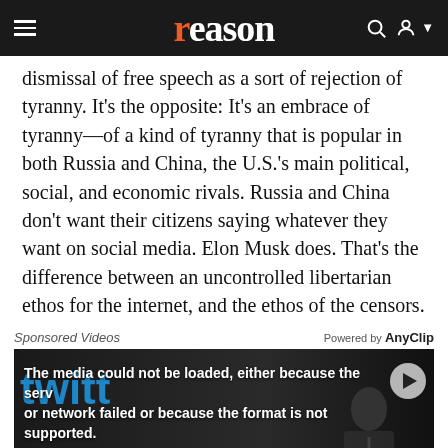reason
dismissal of free speech as a sort of rejection of tyranny. It's the opposite: It's an embrace of tyranny—of a kind of tyranny that is popular in both Russia and China, the U.S.'s main political, social, and economic rivals. Russia and China don't want their citizens saying whatever they want on social media. Elon Musk does. That's the difference between an uncontrolled libertarian ethos for the internet, and the ethos of the censors.
Sponsored Videos
[Figure (screenshot): Video player showing 'The media could not be loaded, either because the server or network failed or because the format is not supported.' with Twitter/X branding and a person in a suit in the background. Label reads 'Twitter X. Musk'.]